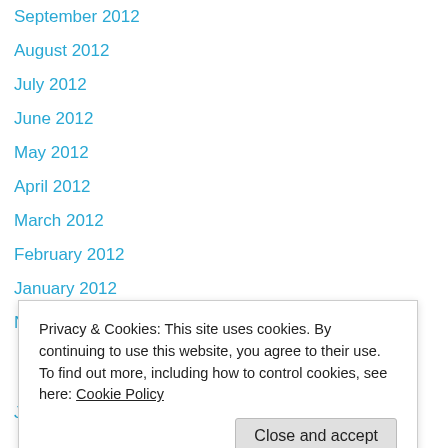September 2012
August 2012
July 2012
June 2012
May 2012
April 2012
March 2012
February 2012
January 2012
November 2011
October 2011
September 2011
August 2011
July 2011
June 2011
Privacy & Cookies: This site uses cookies. By continuing to use this website, you agree to their use.
To find out more, including how to control cookies, see here: Cookie Policy
Close and accept